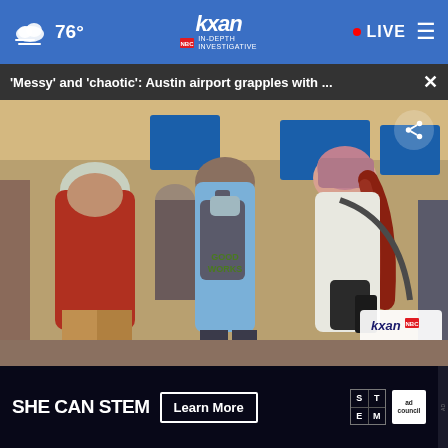76° | KXAN IN-DEPTH INVESTIGATIVE | LIVE
'Messy' and 'chaotic': Austin airport grapples with ...
[Figure (photo): People standing in line at Austin airport, viewed from behind. A person in a red shirt on the left, a person in a light blue shirt with a backpack in the center, and a woman with long red hair and a pink head covering on the right. Blue display screens visible in the background. KXAN watermark in lower right corner showing 72° and 10:01.]
[Figure (advertisement): Blue banner advertisement with illustrated icons of yoga mat, robot/STEM toy, and other items. Has a circular close button on the right side.]
[Figure (advertisement): SHE CAN STEM advertisement on dark background. Text reads 'SHE CAN STEM' with a 'Learn More' button, STEM grid logo, and Ad Council logo.]